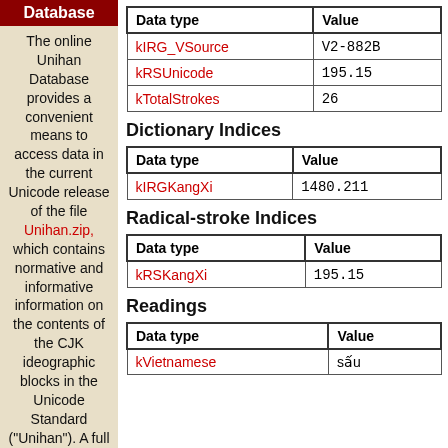Database
The online Unihan Database provides a convenient means to access data in the current Unicode release of the file Unihan.zip, which contains normative and informative information on the contents of the CJK ideographic blocks in the Unicode Standard ("Unihan"). A full
| Data type | Value |
| --- | --- |
| kIRG_VSource | V2-882B |
| kRSUnicode | 195.15 |
| kTotalStrokes | 26 |
Dictionary Indices
| Data type | Value |
| --- | --- |
| kIRGKangXi | 1480.211 |
Radical-stroke Indices
| Data type | Value |
| --- | --- |
| kRSKangXi | 195.15 |
Readings
| Data type | Value |
| --- | --- |
| kVietnamese | sấu |